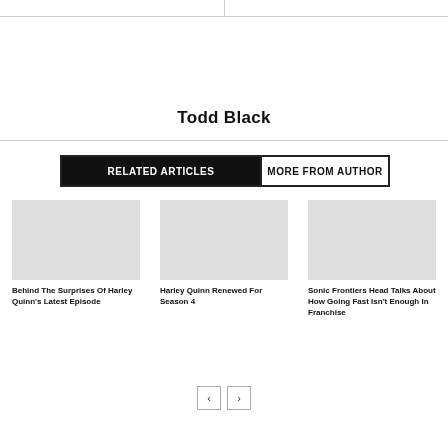Todd Black
RELATED ARTICLES   MORE FROM AUTHOR
Behind The Surprises Of Harley Quinn's Latest Episode
Harley Quinn Renewed For Season 4
Sonic Frontiers Head Talks About How Going Fast Isn't Enough In Franchise